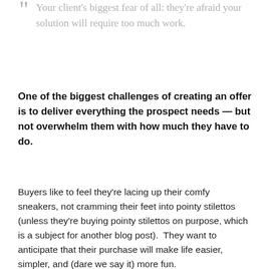" Your client's biggest fear of all: they're afraid your solution will require too much work.
One of the biggest challenges of creating an offer is to deliver everything the prospect needs — but not overwhelm them with how much they have to do.
Buyers like to feel they're lacing up their comfy sneakers, not cramming their feet into pointy stilettos (unless they're buying pointy stilettos on purpose, which is a subject for another blog post).  They want to anticipate that their purchase will make life easier, simpler, and (dare we say it) more fun.